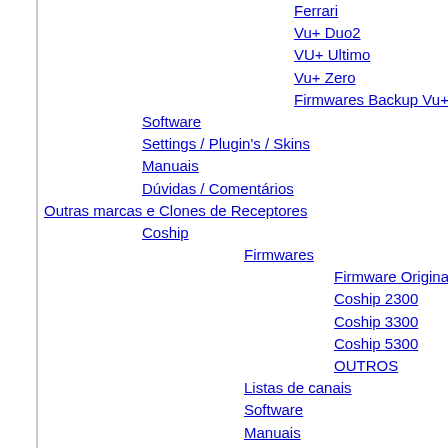Ferrari
Vu+ Duo2
VU+ Ultimo
Vu+ Zero
Firmwares Backup Vu+
Software
Settings / Plugin's / Skins
Manuais
Dúvidas / Comentários
Outras marcas e Clones de Receptores
Coship
Firmwares
Firmware Original
Coship 2300
Coship 3300
Coship 5300
OUTROS
Listas de canais
Software
Manuais
Duvidas / Ajuda
Firmwares
Listas de canais
Software
Manuais
Duvidas / Ajuda
Digital
Firmwares
Firmware Original
Digital 4000